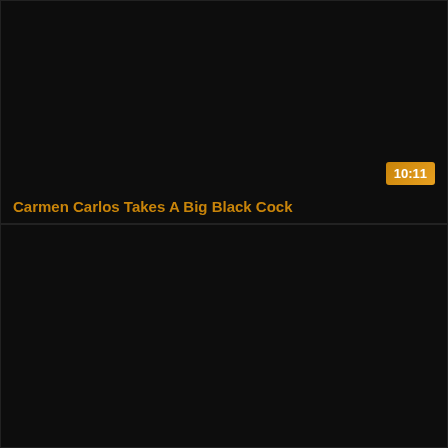[Figure (screenshot): Dark video thumbnail placeholder, top card, with duration badge showing 10:11 in bottom right]
Carmen Carlos Takes A Big Black Cock
[Figure (screenshot): Dark video thumbnail placeholder, bottom card, no visible text]